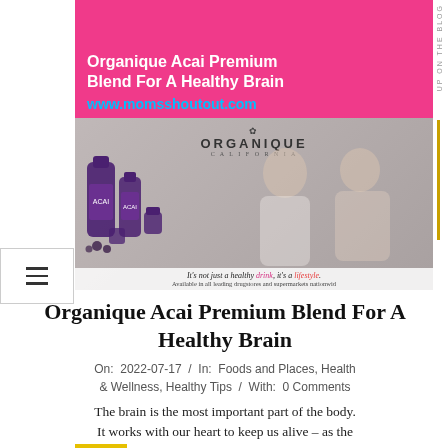[Figure (photo): Blog post banner ad for Organique Acai Premium Blend For A Healthy Brain. Pink background top section with white bold text and URL www.momsshoutout.com in cyan. Below is a photo of a couple (man and woman) with Organique Acai product bottles in foreground, Organique California logo at top of photo, and tagline 'It's not just a healthy drink, it's a lifestyle. Available in all leading drugstores and supermarkets nationwide' at bottom.]
Organique Acai Premium Blend For A Healthy Brain
On:  2022-07-17  /  In:  Foods and Places, Health & Wellness, Healthy Tips  /  With:  0 Comments
The brain is the most important part of the body. It works with our heart to keep us alive – as the heart pumps blood throughout our body, the brain